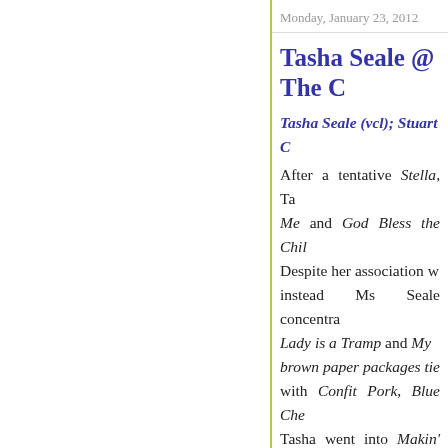Monday, January 23, 2012
Tasha Seale @ The C
Tasha Seale (vcl); Stuart C
After a tentative Stella, Tas Me and God Bless the Chil Despite her association w instead Ms Seale concentra Lady is a Tramp and My brown paper packages tie with Confit Pork, Blue Che Tasha went into Makin' Wh with Frites, Garlic and Pa All of Me why not take all Billy Joel's New York State material such as I Will Surv Peel Me A Grape - a numb - saw the band fall into a n Stu provided sound backin